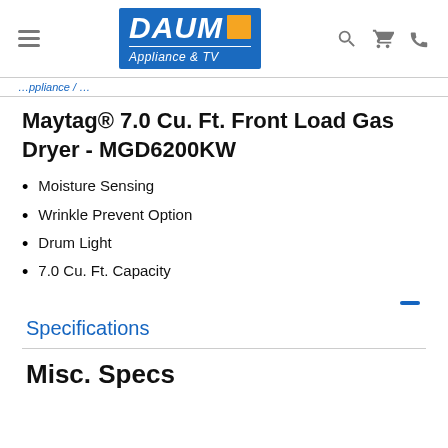DAUM Appliance & TV [logo] [search] [cart] [phone]
Maytag® 7.0 Cu. Ft. Front Load Gas Dryer - MGD6200KW
Moisture Sensing
Wrinkle Prevent Option
Drum Light
7.0 Cu. Ft. Capacity
Specifications
Misc. Specs